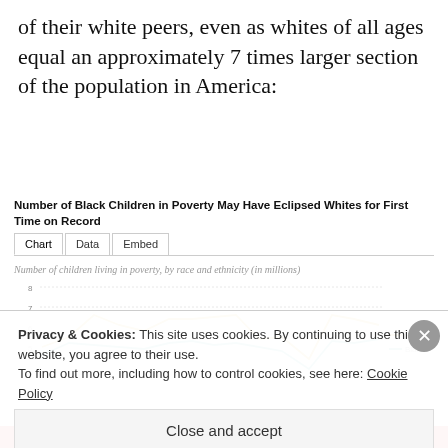of their white peers, even as whites of all ages equal an approximately 7 times larger section of the population in America:
[Figure (line-chart): Line chart showing children in poverty by race over time. Hispanic line trends around 5-7 million range, Black line trends around 4-5 million range.]
Privacy & Cookies: This site uses cookies. By continuing to use this website, you agree to their use.
To find out more, including how to control cookies, see here: Cookie Policy
Close and accept